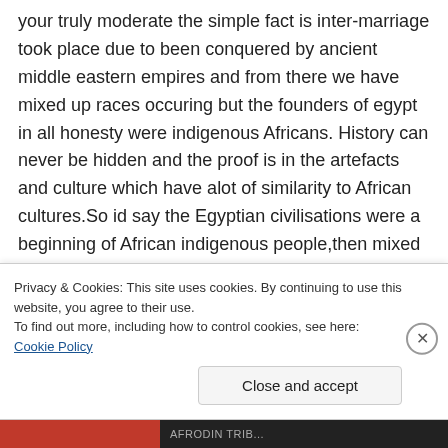your truly moderate the simple fact is inter-marriage took place due to been conquered by ancient middle eastern empires and from there we have mixed up races occuring but the founders of egypt in all honesty were indigenous Africans. History can never be hidden and the proof is in the artefacts and culture which have alot of similarity to African cultures.So id say the Egyptian civilisations were a beginning of African indigenous people,then mixed race in the middle part of egypts life and finally a complete
Privacy & Cookies: This site uses cookies. By continuing to use this website, you agree to their use.
To find out more, including how to control cookies, see here: Cookie Policy